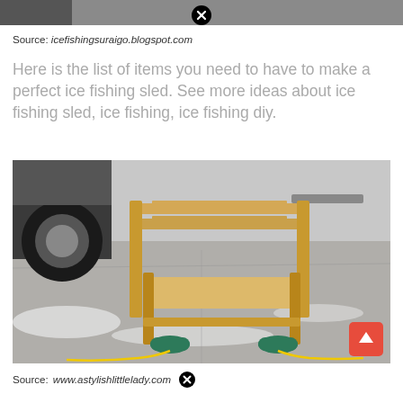[Figure (photo): Top cropped photo bar showing partial image content, gray/dark.]
Source: icefishingsuraigo.blogspot.com
Here is the list of items you need to have to make a perfect ice fishing sled. See more ideas about ice fishing sled, ice fishing, ice fishing diy.
[Figure (photo): A wooden DIY ice fishing sled frame on a snowy/icy concrete surface outdoors. The frame is made of light pine lumber with a plywood shelf, resting on green plastic skis/skates with yellow rope attached. A vehicle is visible in the background upper left.]
Source: www.astylishlittlelady.com